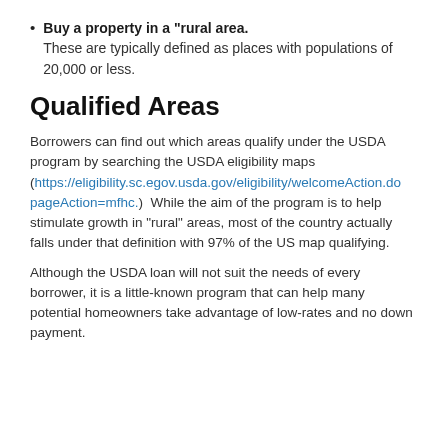Buy a property in a “rural area.” These are typically defined as places with populations of 20,000 or less.
Qualified Areas
Borrowers can find out which areas qualify under the USDA program by searching the USDA eligibility maps (https://eligibility.sc.egov.usda.gov/eligibility/welcomeAction.do?pageAction=mfhc.)  While the aim of the program is to help stimulate growth in “rural” areas, most of the country actually falls under that definition with 97% of the US map qualifying.
Although the USDA loan will not suit the needs of every borrower, it is a little-known program that can help many potential homeowners take advantage of low-rates and no down payment.